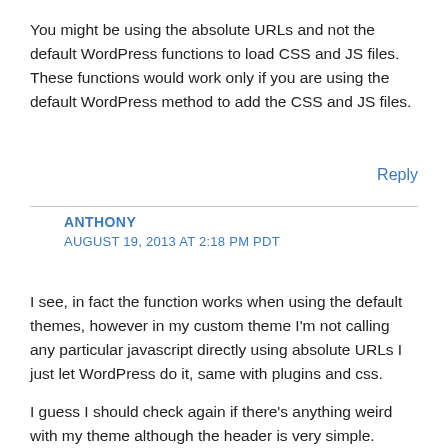You might be using the absolute URLs and not the default WordPress functions to load CSS and JS files. These functions would work only if you are using the default WordPress method to add the CSS and JS files.
Reply
ANTHONY
AUGUST 19, 2013 AT 2:18 PM PDT
I see, in fact the function works when using the default themes, however in my custom theme I’m not calling any particular javascript directly using absolute URLs I just let WordPress do it, same with plugins and css.

I guess I should check again if there’s anything weird with my theme although the header is very simple.

Thanks again for your time replying to my comment.